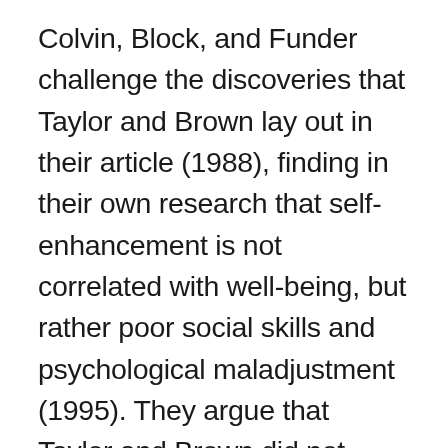Colvin, Block, and Funder challenge the discoveries that Taylor and Brown lay out in their article (1988), finding in their own research that self-enhancement is not correlated with well-being, but rather poor social skills and psychological maladjustment (1995). They argue that Taylor and Brown did not employ adequate criteria of self-enhancement in their research; that their means of measuring self-enhancement were too broad. Instead of using generalizations in measurements of self-enhancement, a comparison between an individual's